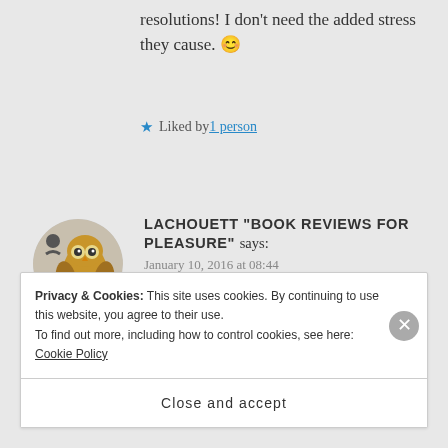resolutions! I don't need the added stress they cause. 😊
★ Liked by 1 person
LACHOUETT "BOOK REVIEWS FOR PLEASURE" says: January 10, 2016 at 08:44
I can understand that. We all need a stress free life 😄.
Privacy & Cookies: This site uses cookies. By continuing to use this website, you agree to their use. To find out more, including how to control cookies, see here: Cookie Policy
Close and accept